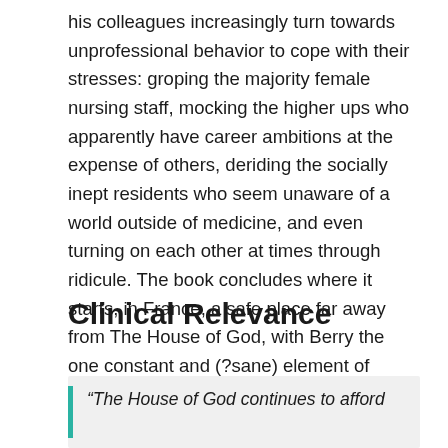his colleagues increasingly turn towards unprofessional behavior to cope with their stresses: groping the majority female nursing staff, mocking the higher ups who apparently have career ambitions at the expense of others, deriding the socially inept residents who seem unaware of a world outside of medicine, and even turning on each other at times through ridicule. The book concludes where it starts, in France, a safe place far away from The House of God, with Berry the one constant and (?sane) element of Roy's life-altering year of internship.
Clinical Relevance
“The House of God continues to afford